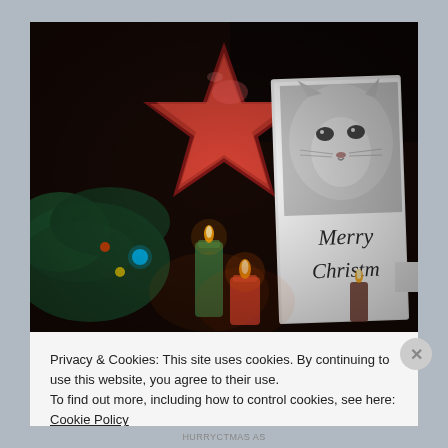[Figure (photo): Christmas scene with a glittery red star decoration, lit candles (green, red, and a smaller one in background), pine tree branches with colorful lights, and a greeting card showing a cat's face with 'Merry Christmas' text visible. Dark moody background.]
Privacy & Cookies: This site uses cookies. By continuing to use this website, you agree to their use.
To find out more, including how to control cookies, see here: Cookie Policy
Close and accept